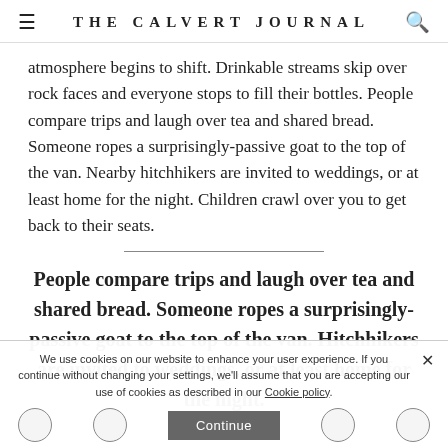THE CALVERT JOURNAL
atmosphere begins to shift. Drinkable streams skip over rock faces and everyone stops to fill their bottles. People compare trips and laugh over tea and shared bread. Someone ropes a surprisingly-passive goat to the top of the van. Nearby hitchhikers are invited to weddings, or at least home for the night. Children crawl over you to get back to their seats.
People compare trips and laugh over tea and shared bread. Someone ropes a surprisingly-passive goat to the top of the van. Hitchhikers are invited to weddings, or at least home for the night.
We use cookies on our website to enhance your user experience. If you continue without changing your settings, we'll assume that you are accepting our use of cookies as described in our Cookie policy.